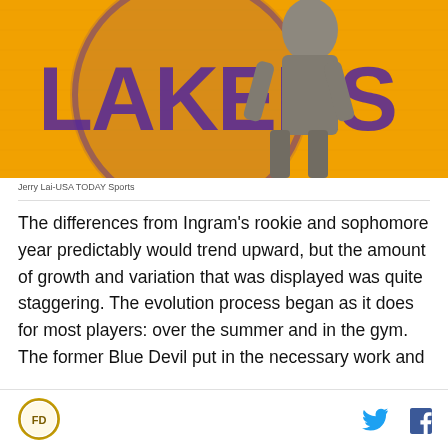[Figure (photo): A person in a grey jacket standing in front of the Lakers logo on an orange/gold hardwood court floor background]
Jerry Lai-USA TODAY Sports
The differences from Ingram's rookie and sophomore year predictably would trend upward, but the amount of growth and variation that was displayed was quite staggering. The evolution process began as it does for most players: over the summer and in the gym. The former Blue Devil put in the necessary work and